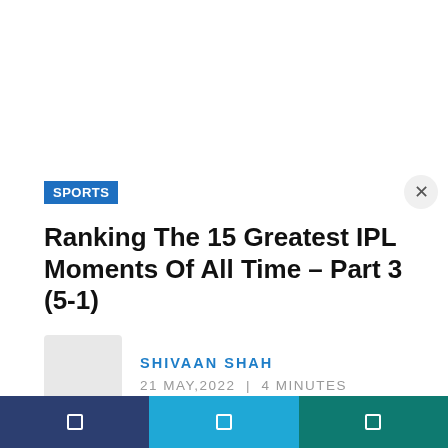SPORTS
Ranking The 15 Greatest IPL Moments Of All Time – Part 3 (5-1)
SHIVAAN SHAH
21 MAY,2022  |  4 MINUTES
[Figure (photo): Author avatar placeholder (light gray box)]
[Figure (photo): Article image placeholder (light gray box)]
Navigation bar with three icon segments